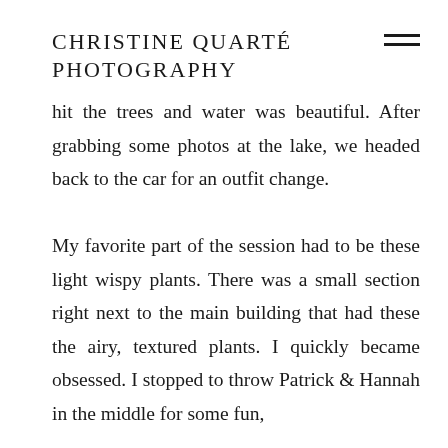CHRISTINE QUARTÉ PHOTOGRAPHY
hit the trees and water was beautiful. After grabbing some photos at the lake, we headed back to the car for an outfit change.

My favorite part of the session had to be these light wispy plants. There was a small section right next to the main building that had these the airy, textured plants. I quickly became obsessed. I stopped to throw Patrick & Hannah in the middle for some fun,